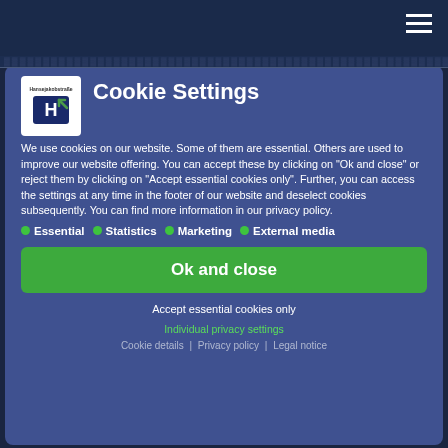[Figure (logo): Navigation bar with hamburger menu icon on dark navy background]
Cookie Settings
We use cookies on our website. Some of them are essential. Others are used to improve our website offering. You can accept these by clicking on "Ok and close" or reject them by clicking on "Accept essential cookies only". Further, you can access the settings at any time in the footer of our website and deselect cookies subsequently. You can find more information in our privacy policy.
Essential
Statistics
Marketing
External media
Ok and close
Accept essential cookies only
Individual privacy settings
Cookie details | Privacy policy | Legal notice